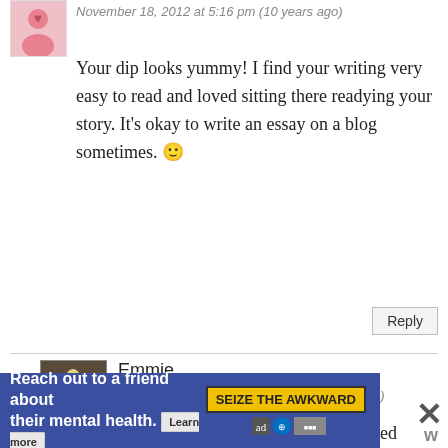November 18, 2012 at 5:16 pm (10 years ago)
Your dip looks yummy! I find your writing very easy to read and loved sitting there readying your story. It's okay to write an essay on a blog sometimes. 🙂
Reply
Emmie
November 24, 2012 at 9:59 pm (10 years ago)
I love your blog. My husband has joked about opening a Waffle House for years, and I do understand what you mean about how comforting it is. You do an amazing job of weaving story into your recipes. Thanks for sharing with us.
Reach out to a friend about their mental health. SEIZE THE AWKWARD Learn more